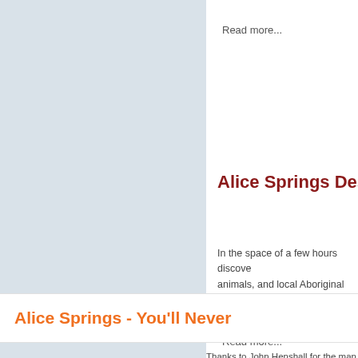Read more...
Alice Springs Dese…
In the space of a few hours discove… animals, and local Aboriginal culture… see rare and endangered animals a…
Read more...
Alice Springs - You'll Never…
Thanks to John Henshall for the man…